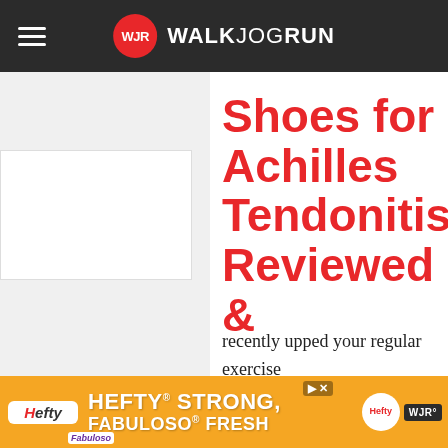WALKJOGRUN
Shoes for Achilles Tendonitis Reviewed &
recently upped your regular exercise workout, you may have developed a burning sensation along the back of just above your heel. These symptoms by stress or injury to the tendon that
[Figure (screenshot): Hefty advertisement banner: HEFTY STRONG, FABULOSO FRESH]